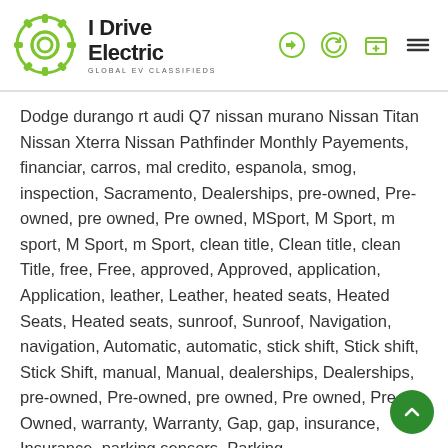I Drive Electric — GLOBAL EV CLASSIFIEDS
Dodge durango rt audi Q7 nissan murano Nissan Titan Nissan Xterra Nissan Pathfinder Monthly Payements, financiar, carros, mal credito, espanola, smog, inspection, Sacramento, Dealerships, pre-owned, Pre-owned, pre owned, Pre owned, MSport, M Sport, m sport, M Sport, m Sport, clean title, Clean title, clean Title, free, Free, approved, Approved, application, Application, leather, Leather, heated seats, Heated Seats, Heated seats, sunroof, Sunroof, Navigation, navigation, Automatic, automatic, stick shift, Stick shift, Stick Shift, manual, Manual, dealerships, Dealerships, pre-owned, Pre-owned, pre owned, Pre owned, Pre Owned, warranty, Warranty, Gap, gap, insurance, Insurance, parking sensors, Parking